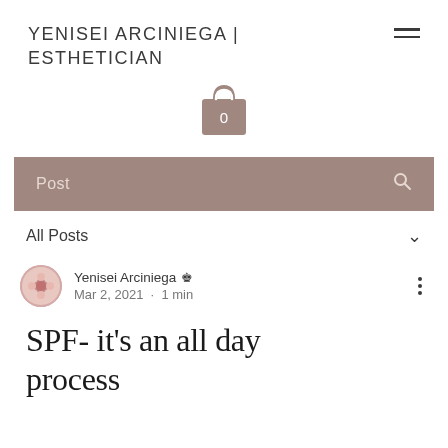YENISEI ARCINIEGA | ESTHETICIAN
[Figure (illustration): Shopping bag icon with the number 0 in a muted rose/taupe color]
Post
All Posts
Yenisei Arciniega 👑 Admin
Mar 2, 2021 · 1 min
SPF- it's an all day process